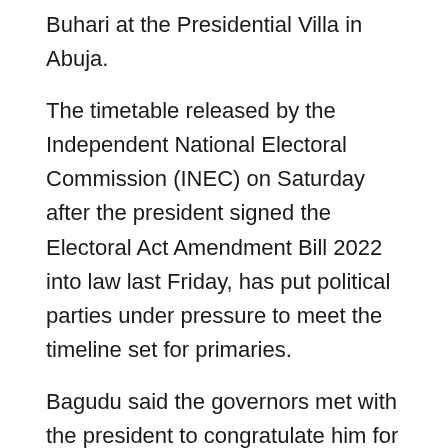Buhari at the Presidential Villa in Abuja.
The timetable released by the Independent National Electoral Commission (INEC) on Saturday after the president signed the Electoral Act Amendment Bill 2022 into law last Friday, has put political parties under pressure to meet the timeline set for primaries.
Bagudu said the governors met with the president to congratulate him for signing the Electoral Act (Amendment) Bill, 2022, and as